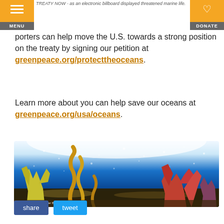MENU | DONATE
TREATY NOW - as an electronic billboard displayed threatened marine life.
porters can help move the U.S. towards a strong position on the treaty by signing our petition at greenpeace.org/protecttheoceans.
Learn more about you can help save our oceans at greenpeace.org/usa/oceans.
[Figure (photo): Underwater photo of coral reef with colorful corals, seaweed, and marine life against blue ocean water with light filtering from above. Credit: © Abou Maassidé / Dieter Barszewski / Greenpeace]
share  tweet